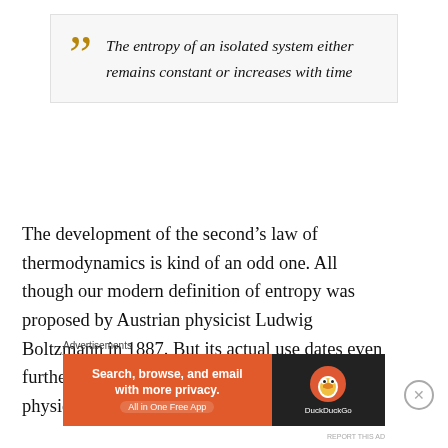The entropy of an isolated system either remains constant or increases with time
The development of the second's law of thermodynamics is kind of an odd one. All though our modern definition of entropy was proposed by Austrian physicist Ludwig Boltzmann in 1887. But its actual use dates even further to the past to the mighty German physicist Rudolf Clausius.
Advertisements
[Figure (other): DuckDuckGo advertisement banner: Search, browse, and email with more privacy. All in One Free App. Shows DuckDuckGo duck logo on dark background.]